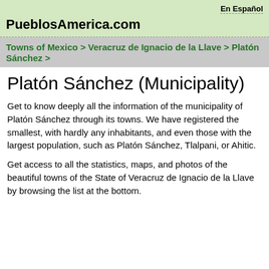En Español
PueblosAmerica.com
Towns of Mexico > Veracruz de Ignacio de la Llave > Platón Sánchez >
Platón Sánchez (Municipality)
Get to know deeply all the information of the municipality of Platón Sánchez through its towns. We have registered the smallest, with hardly any inhabitants, and even those with the largest population, such as Platón Sánchez, Tlalpani, or Ahitic.
Get access to all the statistics, maps, and photos of the beautiful towns of the State of Veracruz de Ignacio de la Llave by browsing the list at the bottom.